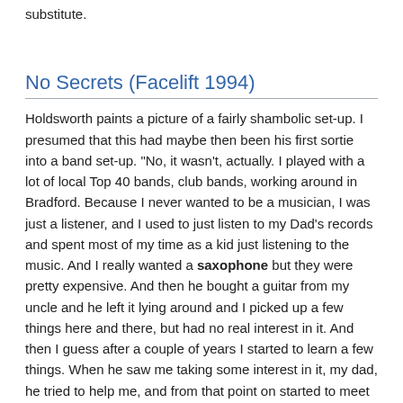substitute.
No Secrets (Facelift 1994)
Holdsworth paints a picture of a fairly shambolic set-up. I presumed that this had maybe then been his first sortie into a band set-up. "No, it wasn't, actually. I played with a lot of local Top 40 bands, club bands, working around in Bradford. Because I never wanted to be a musician, I was just a listener, and I used to just listen to my Dad's records and spent most of my time as a kid just listening to the music. And I really wanted a saxophone but they were pretty expensive. And then he bought a guitar from my uncle and he left it lying around and I picked up a few things here and there, but had no real interest in it. And then I guess after a couple of years I started to learn a few things. When he saw me taking some interest in it, my dad, he tried to help me, and from that point on started to meet other people who were in bands and they started to ask me to play with them. So that's how it started. But I never intended to be a professional musician - it wasn't like a lot of